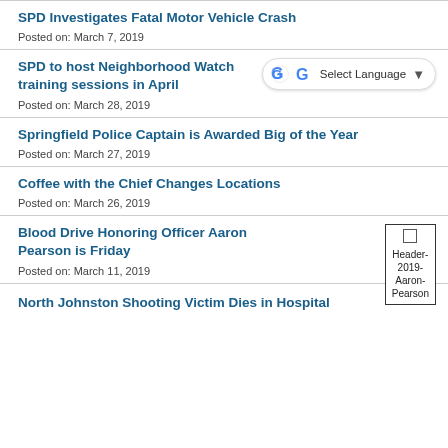SPD Investigates Fatal Motor Vehicle Crash
Posted on: March 7, 2019
SPD to host Neighborhood Watch training sessions in April
Posted on: March 28, 2019
Springfield Police Captain is Awarded Big of the Year
Posted on: March 27, 2019
Coffee with the Chief Changes Locations
Posted on: March 26, 2019
Blood Drive Honoring Officer Aaron Pearson is Friday
Posted on: March 11, 2019
North Johnston Shooting Victim Dies in Hospital